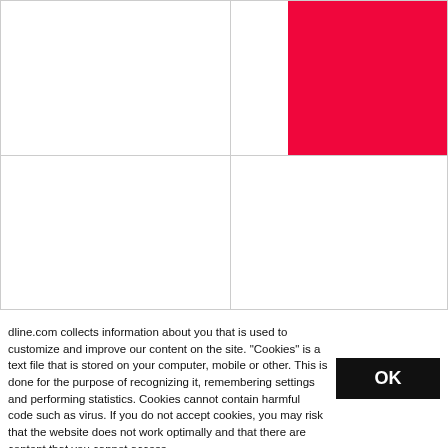[Figure (other): Grid layout with a red block in the upper right quadrant. The page is divided into a 2x2 grid by light gray lines. The upper-right cell contains a solid crimson/red rectangle filling that quadrant. All other cells are white.]
dline.com collects information about you that is used to customize and improve our content on the site. "Cookies" is a text file that is stored on your computer, mobile or other. This is done for the purpose of recognizing it, remembering settings and performing statistics. Cookies cannot contain harmful code such as virus. If you do not accept cookies, you may risk that the website does not work optimally and that there are content that you cannot access.